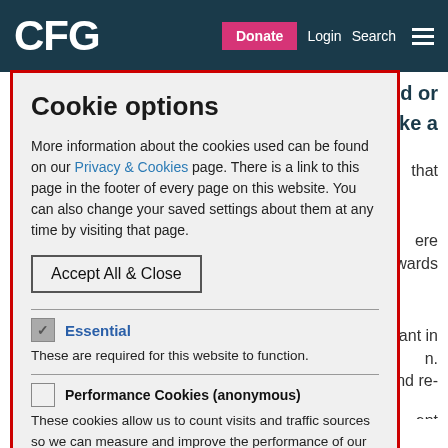CFG  Donate  Login  Search
Cookie options
More information about the cookies used can be found on our Privacy & Cookies page. There is a link to this page in the footer of every page on this website. You can also change your saved settings about them at any time by visiting that page.
Accept All & Close
Essential
These are required for this website to function.
Performance Cookies (anonymous)
These cookies allow us to count visits and traffic sources so we can measure and improve the performance of our site. They help us to know which pages are the most and least popular and see how
about what would come after November this will